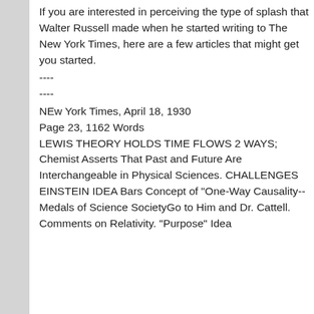If you are interested in perceiving the type of splash that Walter Russell made when he started writing to The New York Times, here are a few articles that might get you started.
----
----
NEw York Times, April 18, 1930
Page 23, 1162 Words
LEWIS THEORY HOLDS TIME FLOWS 2 WAYS; Chemist Asserts That Past and Future Are Interchangeable in Physical Sciences.
CHALLENGES EINSTEIN IDEA Bars Concept of "One-Way Causality-- Medals of Science SocietyGo to Him and Dr. Cattell. Comments on Relativity. "Purpose" Idea